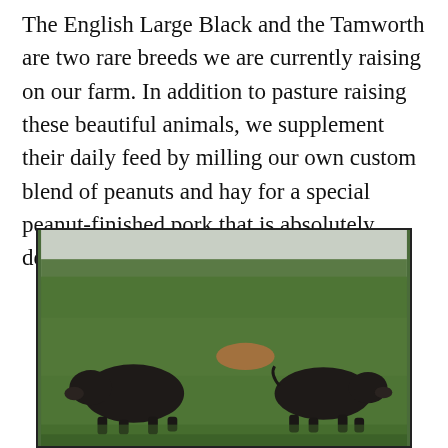The English Large Black and the Tamworth are two rare breeds we are currently raising on our farm. In addition to pasture raising these beautiful animals, we supplement their daily feed by milling our own custom blend of peanuts and hay for a special peanut-finished pork that is absolutely delicious!
[Figure (photo): Two dark-colored pigs (English Large Black breed) grazing in a green pasture field with trees visible on the horizon in the background.]